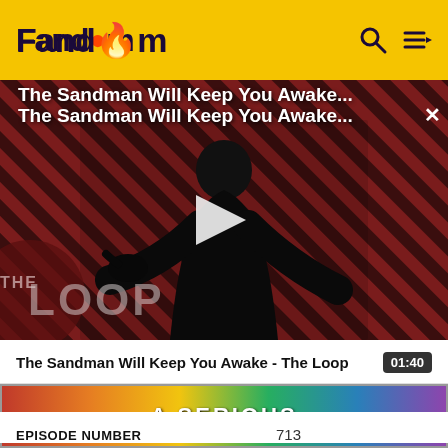Fandom
The Sandman Will Keep You Awake...
[Figure (screenshot): Video thumbnail showing a dark-robed figure (The Sandman character) against a diagonal red and black striped background, with a large white play button in the center and 'THE LOOP' watermark in lower left. Title overlay reads 'The Sandman Will Keep You Awake...' with a close X button.]
The Sandman Will Keep You Awake - The Loop  01:40
[Figure (photo): Colorful advertisement banner with pixel-art style graphics and the word SERIOUS visible]
EPISODE NUMBER    713